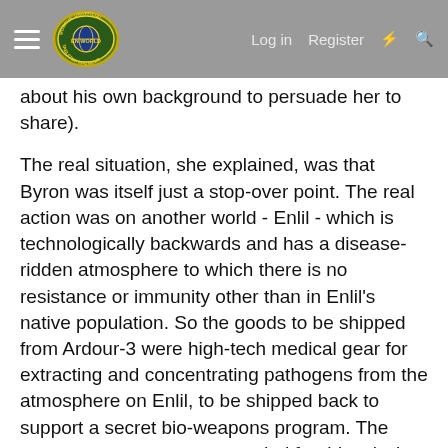Morrus' Unofficial Tabletop RPG News — Log in  Register
(... about his own background to persuade her to share).
The real situation, she explained, was that Byron was itself just a stop-over point. The real action was on another world - Enlil - which is technologically backwards and has a disease-ridden atmosphere to which there is no resistance or immunity other than in Enlil's native population. So the goods to be shipped from Ardour-3 were high-tech medical gear for extracting and concentrating pathogens from the atmosphere on Enlil, to be shipped back to support a secret bio-weapons program. The reason a new team was needed for this mission was because Vincenzo had won the yacht from the original team - who were being dealt with "appropriately" for their incompetence in disrupting the operation.